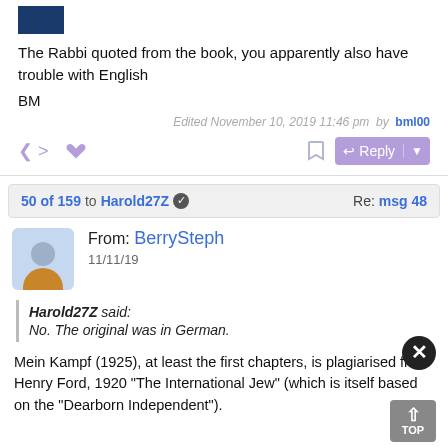[Figure (other): Small thumbnail image of a book cover]
The Rabbi quoted from the book, you apparently also have trouble with English
BM
Edited November 10, 2019 11:46 pm  by  bml00
50 of 159 to Harold27Z  Re: msg 48
From: BerrySteph
11/11/19
Harold27Z said:
No.  The original was in German.
Mein Kampf (1925), at least the first chapters, is plagiarised from Henry Ford, 1920 "The International Jew" (which is itself based on the "Dearborn Independent").